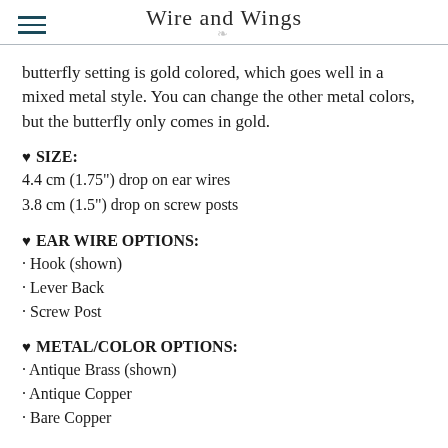Wire and Wings
butterfly setting is gold colored, which goes well in a mixed metal style. You can change the other metal colors, but the butterfly only comes in gold.
♥ SIZE:
4.4 cm (1.75") drop on ear wires
3.8 cm (1.5") drop on screw posts
♥ EAR WIRE OPTIONS:
· Hook (shown)
· Lever Back
· Screw Post
♥ METAL/COLOR OPTIONS:
· Antique Brass (shown)
· Antique Copper
· Bare Copper